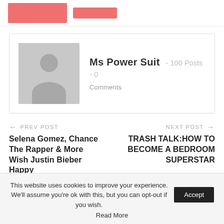[Figure (other): Top bar with pink rectangle and pink button placeholders]
Ms Power Suit  -  100 Posts  -  0 Comments
← PREV POST
Selena Gomez, Chance The Rapper & More Wish Justin Bieber Happy
NEXT POST →
TRASH TALK:HOW TO BECOME A BEDROOM SUPERSTAR
This website uses cookies to improve your experience. We'll assume you're ok with this, but you can opt-out if you wish. Accept
Read More